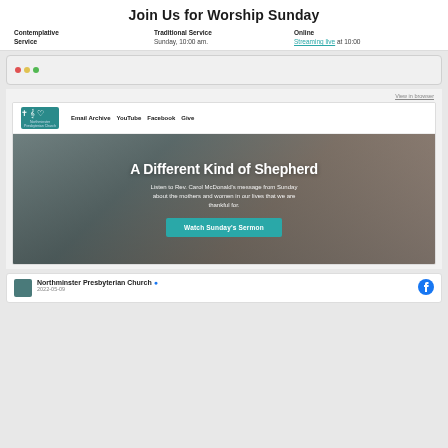Join Us for Worship Sunday
Contemplative Service
Traditional Service
Sunday, 10:00 am.
Online
Streaming live at 10:00
[Figure (screenshot): Browser window chrome strip with red, yellow, green dots]
View in browser
[Figure (logo): Northminster Presbyterian Church logo with teal background and icons]
Email Archive   YouTube   Facebook   Give
[Figure (photo): Hero image with hands holding, dark overlay. Title: A Different Kind of Shepherd. Subtext about Rev. Carol McDonald's message. Button: Watch Sunday's Sermon]
A Different Kind of Shepherd
Listen to Rev. Carol McDonald's message from Sunday about the mothers and women in our lives that we are thankful for.
Watch Sunday's Sermon
Northminster Presbyterian Church
2022-05-09